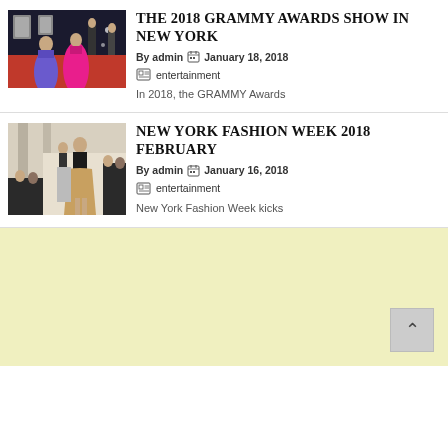[Figure (photo): Photo from the 2018 Grammy Awards red carpet showing women in formal gowns]
THE 2018 GRAMMY AWARDS SHOW IN NEW YORK
By admin  January 18, 2018
entertainment
In 2018, the GRAMMY Awards
[Figure (photo): Photo from New York Fashion Week 2018 showing models on a runway]
NEW YORK FASHION WEEK 2018 FEBRUARY
By admin  January 16, 2018
entertainment
New York Fashion Week kicks